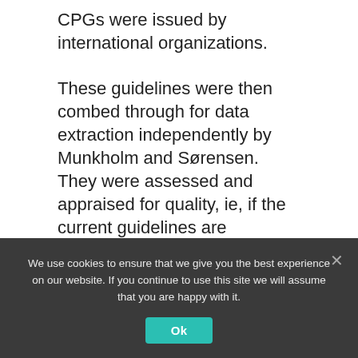CPGs were issued by international organizations.
These guidelines were then combed through for data extraction independently by Munkholm and Sørensen. They were assessed and appraised for quality, ie, if the current guidelines are comprehensive enough and relevant enough to practitioners in helping their patients manage and discontinue their antidepressants.
After an in-depth review of their extracted
We use cookies to ensure that we give you the best experience on our website. If you continue to use this site we will assume that you are happy with it.